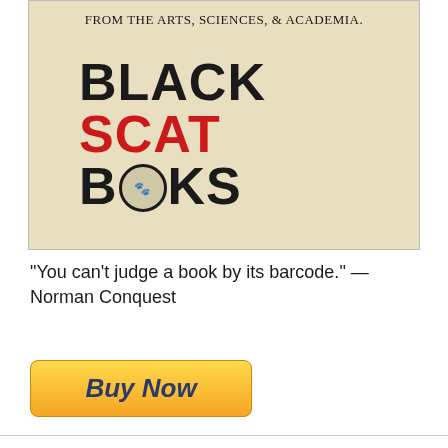[Figure (logo): Black Scat Books logo on tan/cream background with text 'FROM THE ARTS, SCIENCES, & ACADEMIA.' at top. Logo shows BLACK in black bold text, SCAT in red bold text, BOOKS in black bold text with a circular emblem in the O.]
“You can’t judge a book by its barcode.” —Norman Conquest
[Figure (illustration): Buy Now button - orange/yellow gradient rounded rectangle button with italic bold dark blue text reading 'Buy Now']
JUST IN TIME FOR XMAS!